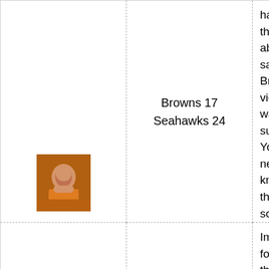[Figure (photo): User avatar photo of a person in orange shirt at a sports venue]
Browns 17
Seahawks 24
have to think twice about saying a Browns victory was a sure thing. You just never know with this team, so I have no idea how anyone can confidently pick them to win a game.
SamVox
[Figure (photo): User avatar photo of a person in dark setting]
Browns 23
Seahawks 17
Immediately following the victory, the Browns are crowned the worst 3-3 team in NFL history.
Ryan
[Figure (photo): User avatar photo, partially visible at bottom]
Browns 27
My confidence in Colt McCoy is starting to fade but I am not ready to write him off just yet. I think he can have success against a below average Seahawk